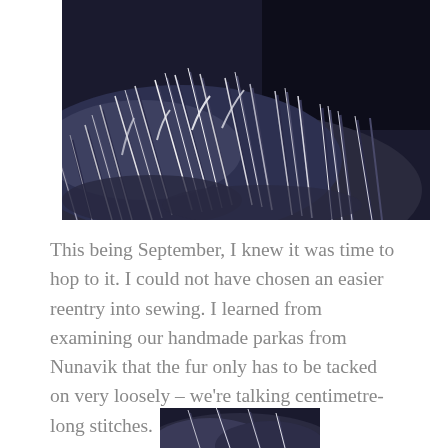[Figure (photo): Close-up photograph of dark navy/blue fur trim on a parka hood, showing fluffy fur with white-tipped strands against a dark background.]
This being September, I knew it was time to hop to it. I could not have chosen an easier reentry into sewing. I learned from examining our handmade parkas from Nunavik that the fur only has to be tacked on very loosely – we're talking centimetre-long stitches.
[Figure (photo): Partial close-up photograph of dark fur trim, showing the bottom portion of a parka fur collar, cropped at the bottom edge of the page.]